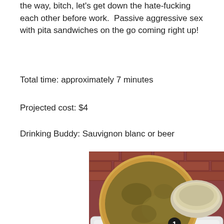the way, bitch, let's get down the hate-fucking each other before work.  Passive aggressive sex with pita sandwiches on the go coming right up!
Total time: approximately 7 minutes
Projected cost: $4
Drinking Buddy: Sauvignon blanc or beer
[Figure (photo): Overhead photo of pita bread with herb topping (labeled 1), a bowl of hummus (labeled 2), green lettuce leaves (labeled 5), olives, and cooked meat on a white tray, with a brick background.]